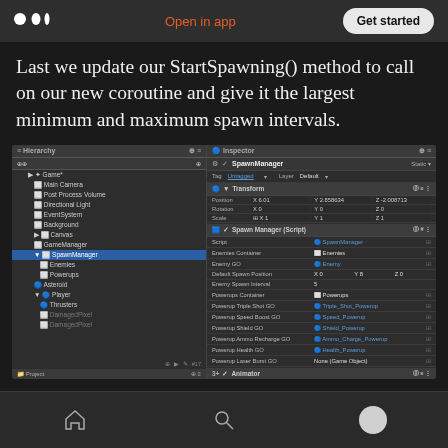Medium logo | Open in app | Get started
Last we update our StartSpawning() method to call on our new coroutine and give it the largest minimum and maximum spawn intervals.
[Figure (screenshot): Unity Editor screenshot showing Hierarchy panel on left with GameObjects including SpawnManager selected, and Inspector panel on right showing SpawnManager script component with fields like Enemies Container, Enemy GO, Default Spawn Position, Enemy Spawn Interval (5), Powerups Container, Powerup Triple Shot GO (Triple_Shot_Powerup), Powerup Speed Boost GO (Speed_Powerup), Powerup Shield GO (Shield_Powerup), Powerup Ammo Recharge GO (Ammo_Charge_Powerup), Powerup Health GO (Health_Powerup), Powerup Laser Burst GO (None Game Object), and Animator component below.]
Home | Search | Profile icons